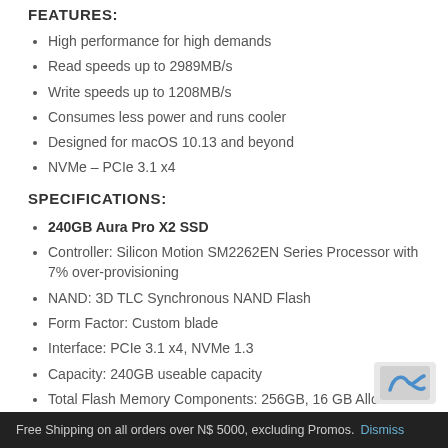FEATURES:
High performance for high demands
Read speeds up to 2989MB/s
Write speeds up to 1208MB/s
Consumes less power and runs cooler
Designed for macOS 10.13 and beyond
NVMe – PCIe 3.1 x4
SPECIFICATIONS:
240GB Aura Pro X2 SSD
Controller: Silicon Motion SM2262EN Series Processor with 7% over-provisioning
NAND: 3D TLC Synchronous NAND Flash
Form Factor: Custom blade
Interface: PCIe 3.1 x4, NVMe 1.3
Capacity: 240GB useable capacity
Total Flash Memory Components: 256GB, 16 GB Allocated to real-time data redundancy and error correction
Formatted Capacity: 223.5GiB
Free Shipping on all orders over N$ 5000, excluding Promos. Dismiss